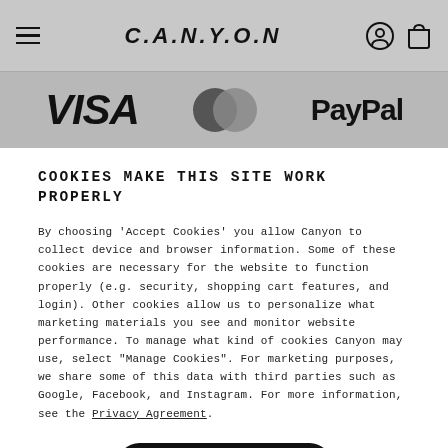[Figure (screenshot): Canyon website header bar with hamburger menu icon on left, CANYON logo in center, user account icon and shopping bag icon on right, on grey background]
[Figure (logo): Payment method logos strip: VISA logo on left, Mastercard overlapping circles in center, PayPal logo on right, on grey background]
COOKIES MAKE THIS SITE WORK PROPERLY
By choosing 'Accept Cookies' you allow Canyon to collect device and browser information. Some of these cookies are necessary for the website to function properly (e.g. security, shopping cart features, and login). Other cookies allow us to personalize what marketing materials you see and monitor website performance. To manage what kind of cookies Canyon may use, select "Manage Cookies". For marketing purposes, we share some of this data with third parties such as Google, Facebook, and Instagram. For more information, see the Privacy Agreement.
Accept Cookies
Manage Cookies